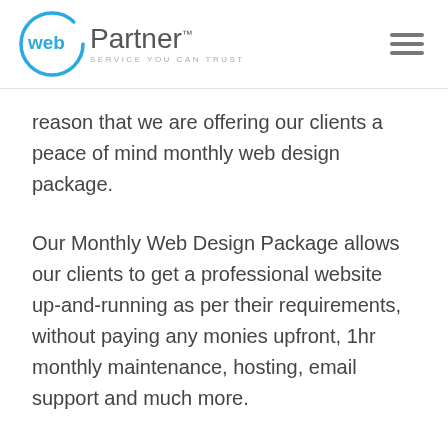[Figure (logo): webPartner logo — circular icon with 'web' in blue on left, 'Partner' in grey on right, tagline 'SERVICE YOU CAN TRUST' below, hamburger menu icon top right]
reason that we are offering our clients a peace of mind monthly web design package.
Our Monthly Web Design Package allows our clients to get a professional website up-and-running as per their requirements, without paying any monies upfront, 1hr monthly maintenance, hosting, email support and much more.
Because our service is offered monthly we cannot for one moment drop our service level to anything below